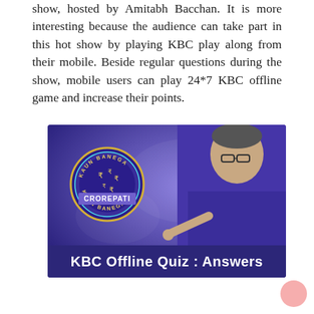show, hosted by Amitabh Bacchan. It is more interesting because the audience can take part in this hot show by playing KBC play along from their mobile. Beside regular questions during the show, mobile users can play 24*7 KBC offline game and increase their points.
[Figure (photo): KBC (Kaun Banega Crorepati) promotional image showing the KBC Crorepati logo on the left and Amitabh Bacchan pointing at the viewer on the right, against a purple background. A banner at the bottom reads 'KBC Offline Quiz : Answers'.]